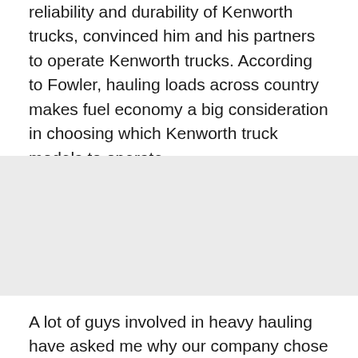reliability and durability of Kenworth trucks, convinced him and his partners to operate Kenworth trucks. According to Fowler, hauling loads across country makes fuel economy a big consideration in choosing which Kenworth truck models to operate.
[Figure (photo): Gray placeholder image area representing a photograph of a Kenworth truck or related scene.]
A lot of guys involved in heavy hauling have asked me why our company chose an aerodynamic model,” said Jason Cook, driver of the first T660 for Little Rock, Ark.-based Jones Heavy Hauling. I tell them just take a look at the mileage I™m getting with this new Kenworth T660 and you™ll know